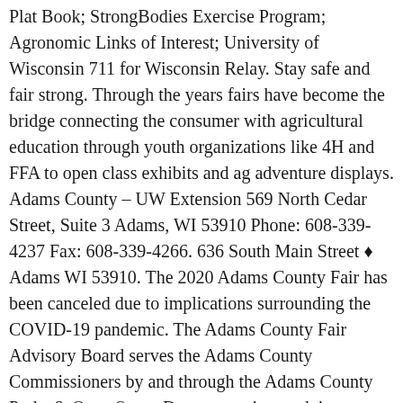Plat Book; StrongBodies Exercise Program; Agronomic Links of Interest; University of Wisconsin 711 for Wisconsin Relay. Stay safe and fair strong. Through the years fairs have become the bridge connecting the consumer with agricultural education through youth organizations like 4H and FFA to open class exhibits and ag adventure displays. Adams County – UW Extension 569 North Cedar Street, Suite 3 Adams, WI 53910 Phone: 608-339-4237 Fax: 608-339-4266. 636 South Main Street ♦ Adams WI 53910. The 2020 Adams County Fair has been canceled due to implications surrounding the COVID-19 pandemic. The Adams County Fair Advisory Board serves the Adams County Commissioners by and through the Adams County Parks & Open Space Department in an advisory capacity for the purpose of planning the Adams County Fair. Please check back often for the newest information. Old Farmers Antique Club. ATHENS FAIR (USE FACEBOOK) 2020 FAIR CANCELLED AS … The annual Hastings Bridal Fair, Adams County Fairfest and PRCA Oregon Trail Rodeo are major Adams County, Nebraska events. The fair from our "eye in the sky." Directions. 402-462-3247. 2021 Fair – August 5-8 Adams County